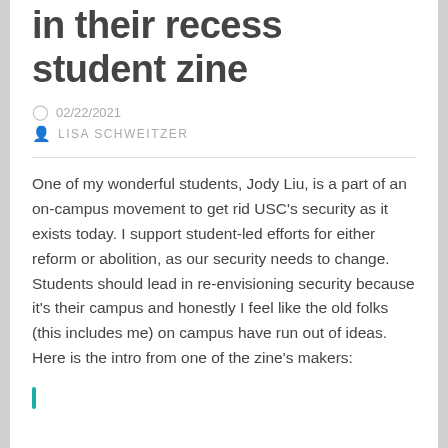in their recess student zine
02/22/2021
LISA SCHWEITZER
One of my wonderful students, Jody Liu, is a part of an on-campus movement to get rid USC's security as it exists today. I support student-led efforts for either reform or abolition, as our security needs to change. Students should lead in re-envisioning security because it's their campus and honestly I feel like the old folks (this includes me) on campus have run out of ideas. Here is the intro from one of the zine's makers: